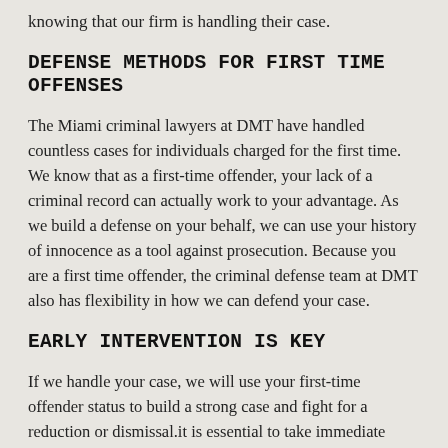knowing that our firm is handling their case.
DEFENSE METHODS FOR FIRST TIME OFFENSES
The Miami criminal lawyers at DMT have handled countless cases for individuals charged for the first time. We know that as a first-time offender, your lack of a criminal record can actually work to your advantage. As we build a defense on your behalf, we can use your history of innocence as a tool against prosecution. Because you are a first time offender, the criminal defense team at DMT also has flexibility in how we can defend your case.
EARLY INTERVENTION IS KEY
If we handle your case, we will use your first-time offender status to build a strong case and fight for a reduction or dismissal.it is essential to take immediate action and get the defense offered by DMT as early on in the case as